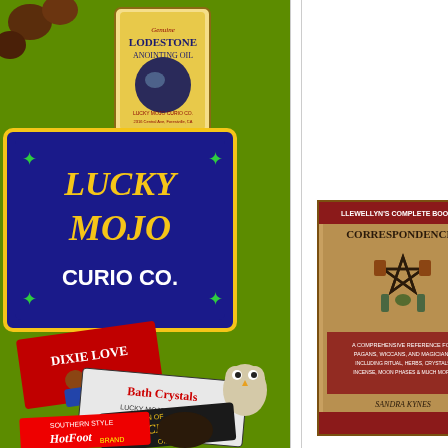[Figure (illustration): Lucky Mojo Curio Co. product collage on green background showing Lodestone Anointing Oil, Lucky Mojo logo, Dixie Love, Bath Crystals, Crown of Success Oil, and Hot Foot Brand products with decorative items.]
[Figure (photo): Book cover for a comprehensive guide on Correspondences, featuring a pentagram with various symbolic items, by Sandra Kynes.]
subcategories, making it easy to find what you need.

This comprehensive reference provides a fascinating look at why correspondences are more than just lists of objects to focus intent on—they are fundamental to how we think. When we use correspondences, we weave together our ideas, beliefs, and energy, creating deeper meaning in our rituals and spellwork as we unite our individuality with a larger purpose.

The use of correspondences embodies both physical and symbolic energy and
$
BO
Ad